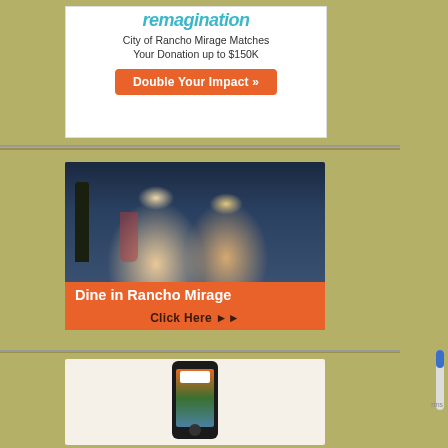[Figure (infographic): Advertisement banner for reimagination/donation campaign. City of Rancho Mirage matches donation up to $150K. Has 'Double Your Impact »' orange button.]
[Figure (infographic): Advertisement for dining in Rancho Mirage. Shows couple dining at restaurant. Orange banner reads 'Dine in Rancho Mirage' with 'Click Here ▶▶' below.]
[Figure (infographic): Advertisement showing a smartphone with Rancho Mirage app/website displayed on screen.]